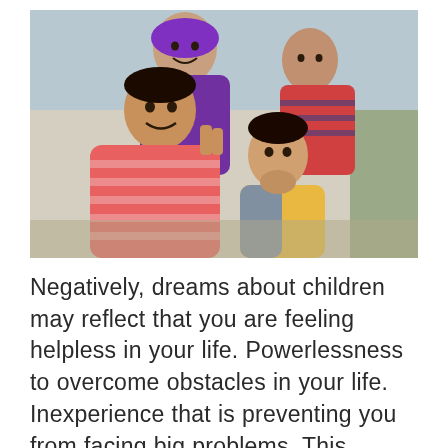[Figure (photo): A group of young children posing together outdoors. One child in a pink striped sweater is making a peace sign, another child in purple is behind them, a child in a red-striped top is at the back right, and a younger child in yellow and grey is in the foreground. They appear to be in a sunny outdoor setting.]
Negatively, dreams about children may reflect that you are feeling helpless in your life. Powerlessness to overcome obstacles in your life. Inexperience that is preventing you from facing big problems. This dream also reflects issues that you can't control. Developing new ideas is becoming frustrating for you. You are feeling like an